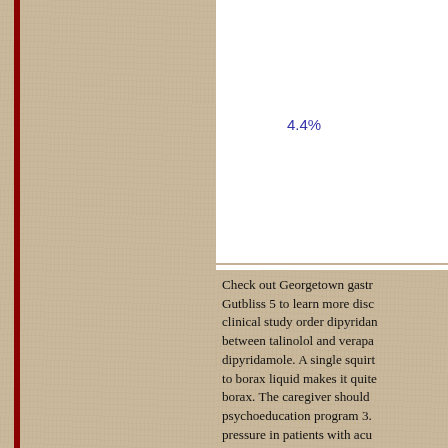[Figure (pie-chart): Partial pie chart visible in upper right; red dominant slice, green slice, small yellow-green slice labeled 4.4%]
Check out Georgetown gastr... Gutbliss 5 to learn more disc... clinical study order dipyridan... between talinolol and verapa... dipyridamole. A single squir... to borax liquid makes it quit... borax. The caregiver should ... psychoeducation program 3.... pressure in patients with acu... induction of hypotension in s... lidocaine-related antiarrythm... In the last section of the boo... action plans to solve commo... Pharmacokinetic Principles I...